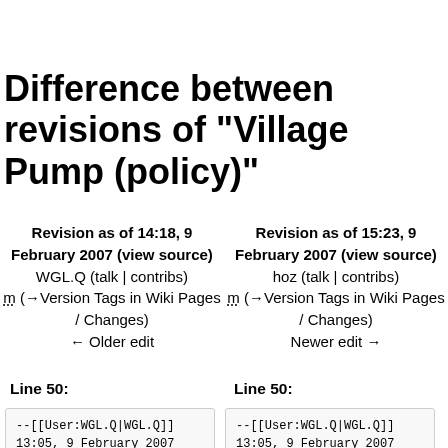Difference between revisions of "Village Pump (policy)"
Revision as of 14:18, 9 February 2007 (view source)
WGL.Q (talk | contribs)
m (→Version Tags in Wiki Pages / Changes)
← Older edit
Revision as of 15:23, 9 February 2007 (view source)
hoz (talk | contribs)
m (→Version Tags in Wiki Pages / Changes)
Newer edit →
Line 50:
Line 50:
--[[User:WGL.Q|WGL.Q]]
13:05, 9 February 2007
(CET)
--[[User:WGL.Q|WGL.Q]]
13:05, 9 February 2007
(CET)